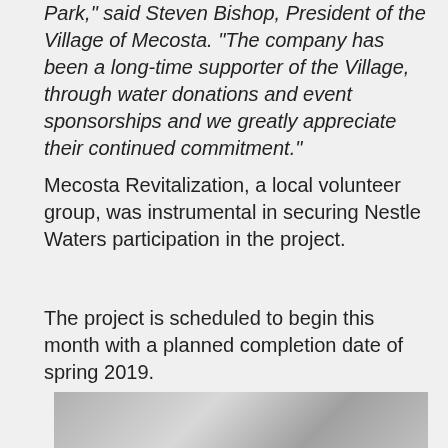Park," said Steven Bishop, President of the Village of Mecosta. "The company has been a long-time supporter of the Village, through water donations and event sponsorships and we greatly appreciate their continued commitment."
Mecosta Revitalization, a local volunteer group, was instrumental in securing Nestle Waters participation in the project.
The project is scheduled to begin this month with a planned completion date of spring 2019.
[Figure (photo): Black and white photograph showing hands or fabric, partially visible at the bottom of the page]